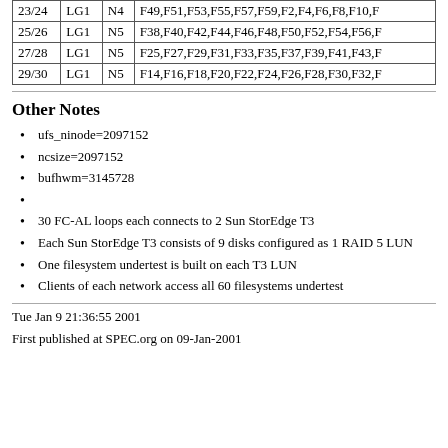|  | LG1 | N4/N5 | Filesystems |
| --- | --- | --- | --- |
| 23/24 | LG1 | N4 | F49,F51,F53,F55,F57,F59,F2,F4,F6,F8,F10,F... |
| 25/26 | LG1 | N5 | F38,F40,F42,F44,F46,F48,F50,F52,F54,F56,F... |
| 27/28 | LG1 | N5 | F25,F27,F29,F31,F33,F35,F37,F39,F41,F43,F... |
| 29/30 | LG1 | N5 | F14,F16,F18,F20,F22,F24,F26,F28,F30,F32,F... |
Other Notes
ufs_ninode=2097152
ncsize=2097152
bufhwm=3145728
30 FC-AL loops each connects to 2 Sun StorEdge T3
Each Sun StorEdge T3 consists of 9 disks configured as 1 RAID 5 LUN
One filesystem undertest is built on each T3 LUN
Clients of each network access all 60 filesystems undertest
Tue Jan 9 21:36:55 2001

First published at SPEC.org on 09-Jan-2001